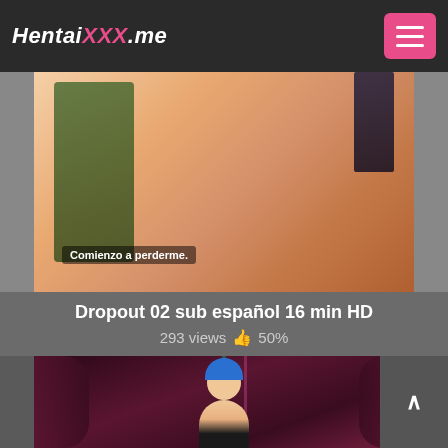HentaiXXX.me
[Figure (screenshot): Anime/hentai video thumbnail with subtitle overlay reading 'Comienzo a perderme.']
Dropout 02 sub español 16 min HD
293 views 👍 50%
[Figure (screenshot): Anime/hentai video thumbnail showing a blue-haired female character on a stage with curtains]